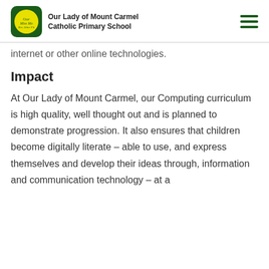Our Lady of Mount Carmel Catholic Primary School
internet or other online technologies.
Impact
At Our Lady of Mount Carmel, our Computing curriculum is high quality, well thought out and is planned to demonstrate progression. It also ensures that children become digitally literate – able to use, and express themselves and develop their ideas through, information and communication technology – at a